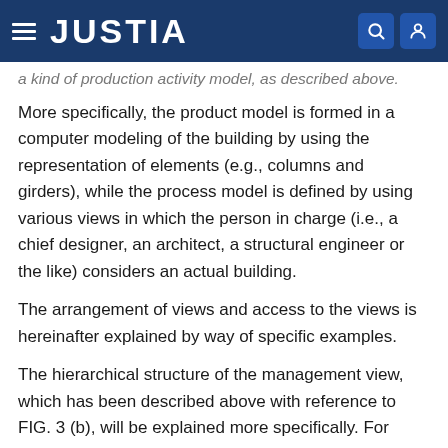JUSTIA
a kind of production activity model, as described above.
More specifically, the product model is formed in a computer modeling of the building by using the representation of elements (e.g., columns and girders), while the process model is defined by using various views in which the person in charge (i.e., a chief designer, an architect, a structural engineer or the like) considers an actual building.
The arrangement of views and access to the views is hereinafter explained by way of specific examples.
The hierarchical structure of the management view, which has been described above with reference to FIG. 3 (b), will be explained more specifically. For example, the management view contains a strategic view, a progress view, a project cost view, a project organization view, a